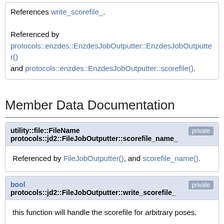References write_scorefile_.
Referenced by protocols::enzdes::EnzdesJobOutputter::EnzdesJobOutputter() and protocols::enzdes::EnzdesJobOutputter::scorefile().
Member Data Documentation
utility::file::FileName protocols::jd2::FileJobOutputter::scorefile_name_  private
Referenced by FileJobOutputter(), and scorefile_name().
bool protocols::jd2::FileJobOutputter::write_scorefile_  private
this function will handle the scorefile for arbitrary poses.
Referenced by FileJobOutputter(), and write_scorefile().